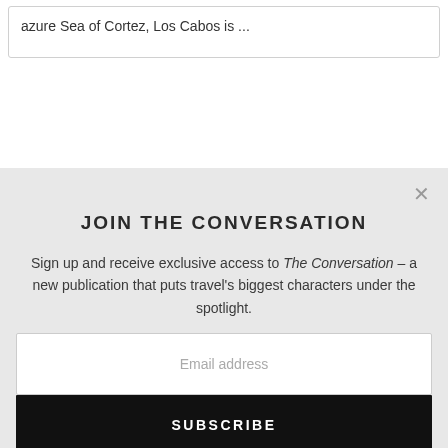azure Sea of Cortez, Los Cabos is …
JOIN THE CONVERSATION
Sign up and receive exclusive access to The Conversation – a new publication that puts travel's biggest characters under the spotlight.
Email address
SUBSCRIBE